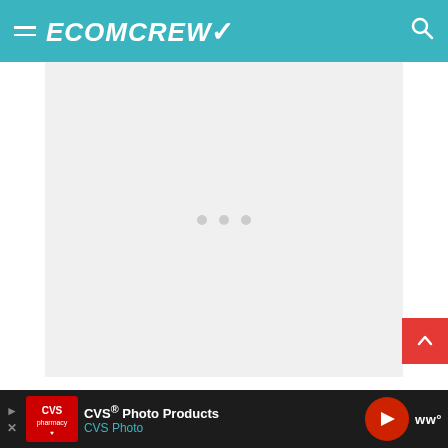ECOMCREW
[Figure (other): Loading placeholder / advertisement area with three gray dots centered on a light gray background]
When to Ship Direct and When to
[Figure (other): Bottom advertisement bar: CVS Photo Products / CVS Photo with navigation arrow icon and Waze logo]